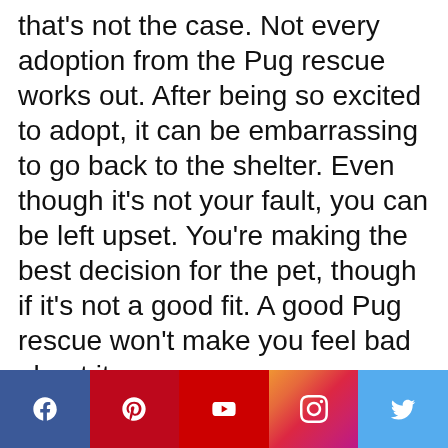that's not the case. Not every adoption from the Pug rescue works out. After being so excited to adopt, it can be embarrassing to go back to the shelter. Even though it's not your fault, you can be left upset. You're making the best decision for the pet, though if it's not a good fit. A good Pug rescue won't make you feel bad about it.
[Figure (infographic): Social media share bar with Facebook, Pinterest, YouTube, Instagram, and Twitter icons on colored backgrounds]